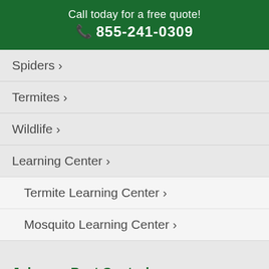Call today for a free quote! 855-241-0309
Spiders ›
Termites ›
Wildlife ›
Learning Center ›
Termite Learning Center ›
Mosquito Learning Center ›
Johnson Pest Control
4.9 Stars - Based on 417 User Reviews